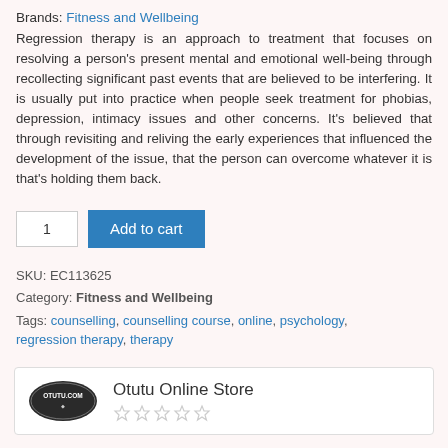Brands: Fitness and Wellbeing
Regression therapy is an approach to treatment that focuses on resolving a person's present mental and emotional well-being through recollecting significant past events that are believed to be interfering. It is usually put into practice when people seek treatment for phobias, depression, intimacy issues and other concerns. It's believed that through revisiting and reliving the early experiences that influenced the development of the issue, that the person can overcome whatever it is that's holding them back.
1  Add to cart
SKU: EC113625
Category: Fitness and Wellbeing
Tags: counselling, counselling course, online, psychology, regression therapy, therapy
Otutu Online Store